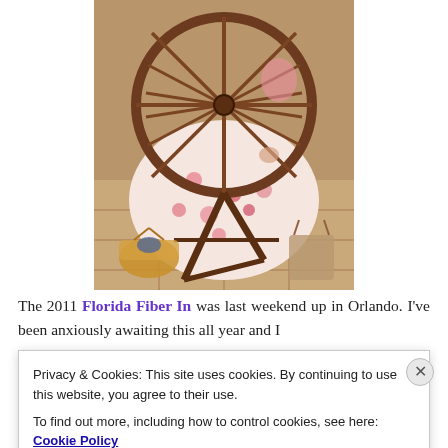[Figure (photo): A woman in a floral dress sitting at an antique wooden spinning wheel on a tiled floor, with a wicker basket beside her.]
The 2011 Florida Fiber In was last weekend up in Orlando. I've been anxiously awaiting this all year and I
Privacy & Cookies: This site uses cookies. By continuing to use this website, you agree to their use.
To find out more, including how to control cookies, see here: Cookie Policy
Close and accept